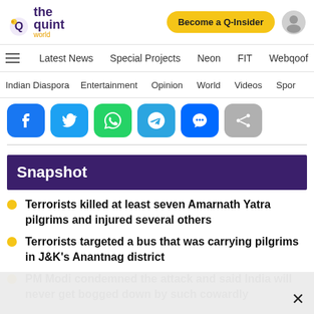The Quint World — Become a Q-Insider
Latest News | Special Projects | Neon | FIT | Webqoof
Indian Diaspora | Entertainment | Opinion | World | Videos | Spor
[Figure (other): Social share buttons: Facebook, Twitter, WhatsApp, Telegram, Messenger, Share]
Snapshot
Terrorists killed at least seven Amarnath Yatra pilgrims and injured several others
Terrorists targeted a bus that was carrying pilgrims in J&K's Anantnag district
PM Modi condemned the attack and said India will never get bogged down by such cowardly